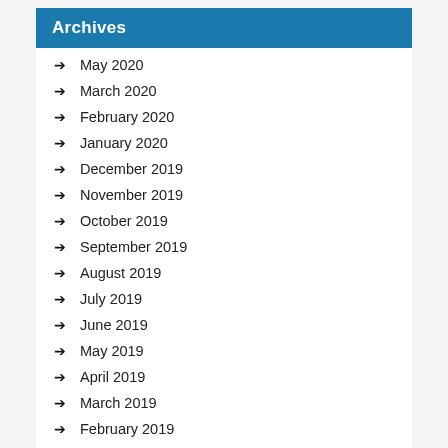Archives
May 2020
March 2020
February 2020
January 2020
December 2019
November 2019
October 2019
September 2019
August 2019
July 2019
June 2019
May 2019
April 2019
March 2019
February 2019
January 2019
December 2018